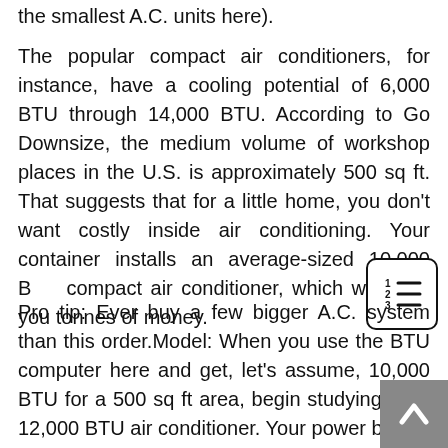the smallest A.C. units here).
The popular compact air conditioners, for instance, have a cooling potential of 6,000 BTU through 14,000 BTU. According to Go Downsize, the medium volume of workshop places in the U.S. is approximately 500 sq ft. That suggests that for a little home, you don't want costly inside air conditioning. Your container installs an average-sized 10,000 BTU compact air conditioner, which will save you tonnes of money.
Pro tip: Ever buy a few bigger A.C. system than this order.Model: When you use the BTU computer here and get, let's assume, 10,000 BTU for a 500 sq ft area, begin studying for a 12,000 BTU air conditioner. Your power bill will